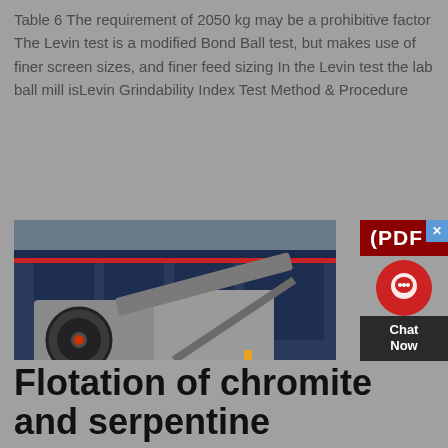Table 6 The requirement of 2050 kg may be a prohibitive factor The Levin test is a modified Bond Ball test, but makes use of finer screen sizes, and finer feed sizing In the Levin test the lab ball mill isLevin Grindability Index Test Method & Procedure
[Figure (photo): A large mobile jaw crusher machine on a trailer/truck chassis, parked in front of an industrial building. The machine is grey/silver colored with large mechanical components including wheels, conveyor belt, and crushing equipment.]
(PDF
Flotation of chromite and serpentine